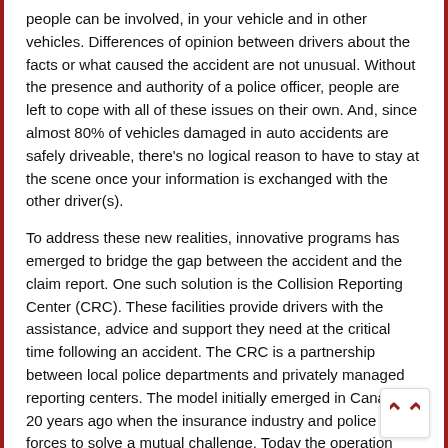people can be involved, in your vehicle and in other vehicles. Differences of opinion between drivers about the facts or what caused the accident are not unusual. Without the presence and authority of a police officer, people are left to cope with all of these issues on their own. And, since almost 80% of vehicles damaged in auto accidents are safely driveable, there's no logical reason to have to stay at the scene once your information is exchanged with the other driver(s).
To address these new realities, innovative programs has emerged to bridge the gap between the accident and the claim report. One such solution is the Collision Reporting Center (CRC). These facilities provide drivers with the assistance, advice and support they need at the critical time following an accident. The CRC is a partnership between local police departments and privately managed reporting centers. The model initially emerged in Canada 20 years ago when the insurance industry and police joined forces to solve a mutual challenge. Today the operation manages 32 Collision Reporting Centers in partnership with 53 police departments across Canada and serves 80% of the Canadian auto insurance industry. Recently the operator expanded into the U.S., opening its first Collision Reporting Center in Roanoke, Virginia in the fall of 2016 with plans to open several more centers in the near future.